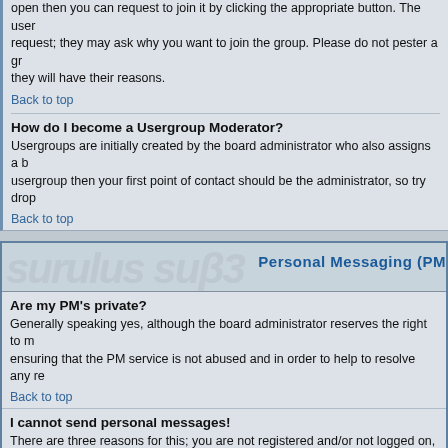open then you can request to join it by clicking the appropriate button. The user request; they may ask why you want to join the group. Please do not pester a gr they will have their reasons.
Back to top
How do I become a Usergroup Moderator?
Usergroups are initially created by the board administrator who also assigns a b usergroup then your first point of contact should be the administrator, so try drop
Back to top
Personal Messaging (PM
Are my PM's private?
Generally speaking yes, although the board administrator reserves the right to m ensuring that the PM service is not abused and in order to help to resolve any re
Back to top
I cannot send personal messages!
There are three reasons for this; you are not registered and/or not logged on, the messaging for the entire board, or the board administrator has prevented you inc case you should try asking the administrator why.
Back to top
Why are my PM's stuck in my Outbox?
Your PM's go to your outbox when you first send them. They remain there until